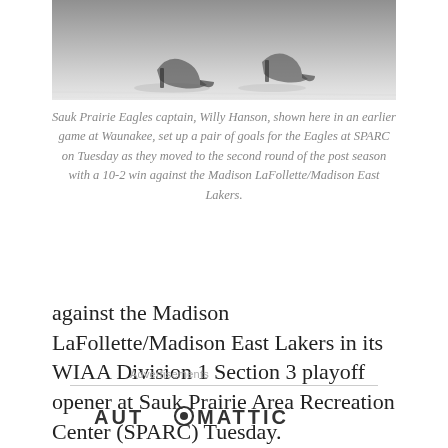[Figure (photo): Ice hockey player in skates on ice, black and white photo cropped to show lower body/skates in motion]
Sauk Prairie Eagles captain, Willy Hanson, shown here in an earlier game at Waunakee, set up a pair of goals for the Eagles at SPARC on Tuesday as they moved to the second round of the post season with a 10-2 win against the Madison LaFollette/Madison East Lakers.
against the Madison LaFollette/Madison East Lakers in its WIAA Division 1 Section 3 playoff opener at Sauk Prairie Area Recreation Center (SPARC) Tuesday.
Advertisements
[Figure (logo): AUTOMATTIC logo with a circle containing a dot replacing one letter O]